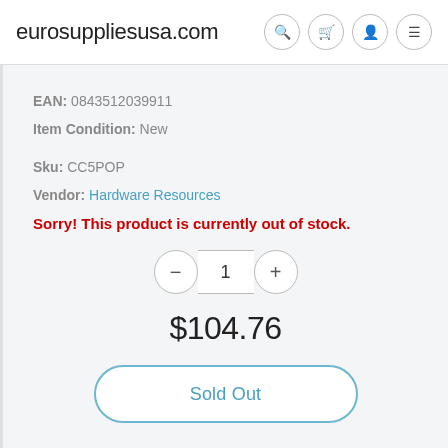eurosuppliesusa.com
EAN: 0843512039911
Item Condition: New
Sku: CC5POP
Vendor: Hardware Resources
Sorry! This product is currently out of stock.
1
$104.76
Sold Out